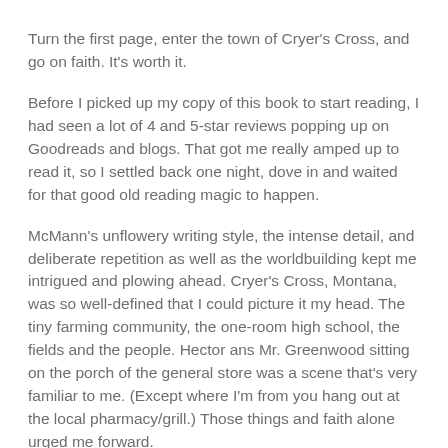Turn the first page, enter the town of Cryer's Cross, and go on faith. It's worth it.
Before I picked up my copy of this book to start reading, I had seen a lot of 4 and 5-star reviews popping up on Goodreads and blogs. That got me really amped up to read it, so I settled back one night, dove in and waited for that good old reading magic to happen.
McMann's unflowery writing style, the intense detail, and deliberate repetition as well as the worldbuilding kept me intrigued and plowing ahead. Cryer's Cross, Montana, was so well-defined that I could picture it my head. The tiny farming community, the one-room high school, the fields and the people. Hector ans Mr. Greenwood sitting on the porch of the general store was a scene that's very familiar to me. (Except where I'm from you hang out at the local pharmacy/grill.) Those things and faith alone urged me forward.